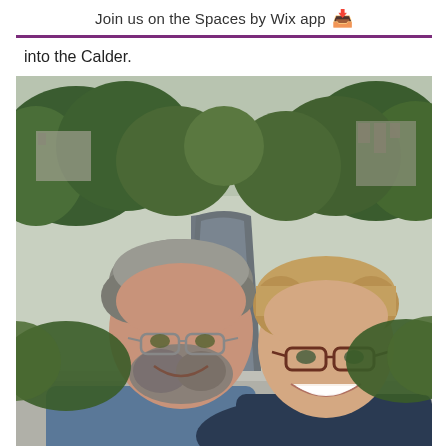Join us on the Spaces by Wix app ⬇
into the Calder.
[Figure (photo): Selfie of a man and a woman on a bridge over the River Calder, surrounded by green trees. Man on left has grey hair, glasses, beard, wearing blue shirt and red shirt underneath. Woman on right has short blonde hair, wearing glasses and dark blue jacket. River and green trees visible in background.]